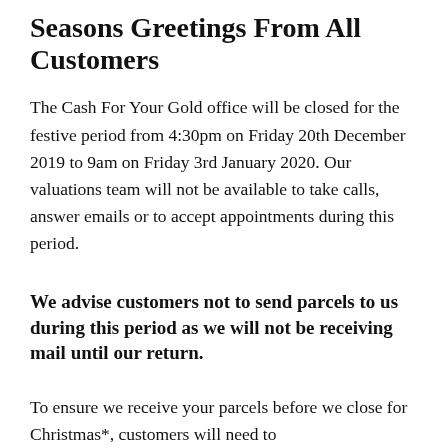Seasons Greetings From All Customers
The Cash For Your Gold office will be closed for the festive period from 4:30pm on Friday 20th December 2019 to 9am on Friday 3rd January 2020. Our valuations team will not be available to take calls, answer emails or to accept appointments during this period.
We advise customers not to send parcels to us during this period as we will not be receiving mail until our return.
To ensure we receive your parcels before we close for Christmas*, customers will need to